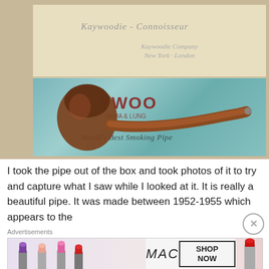[Figure (photo): A Kaywoodie Connoisseur pipe in its original box. The box lid is open showing cream/beige interior with italic script reading 'Kaywoodie - Connoisseur' and 'Kaywoodie Company New York - London'. The bottom of the box contains a blue cloth bag and a brown briar pipe resting in it. The cloth bag shows partial text 'YWOOD' in red and script text 'World's Best Smoking Pipe'.]
I took the pipe out of the box and took photos of it to try and capture what I saw while I looked at it. It is really a beautiful pipe. It was made between 1952-1955 which appears to the
Advertisements
[Figure (photo): MAC Cosmetics advertisement showing colorful lipsticks (purple, peach, pink, red) with the MAC logo and a 'SHOP NOW' button.]